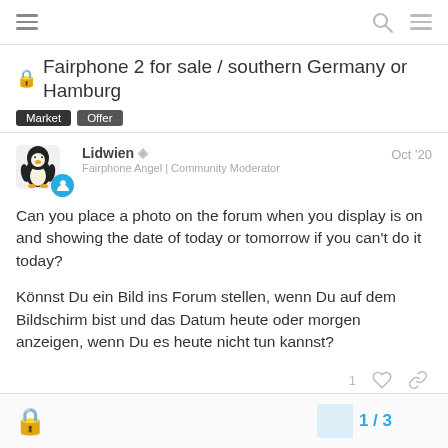Navigation bar with hamburger menu, search icon, and options icon
Fairphone 2 for sale / southern Germany or Hamburg
Market  Offer
Lidwien — Fairphone Angel | Community Moderator — Oct '20
Can you place a photo on the forum when you display is on and showing the date of today or tomorrow if you can't do it today?

Könnst Du ein Bild ins Forum stellen, wenn Du auf dem Bildschirm bist und das Datum heute oder morgen anzeigen, wenn Du es heute nicht tun kannst?
1 / 3